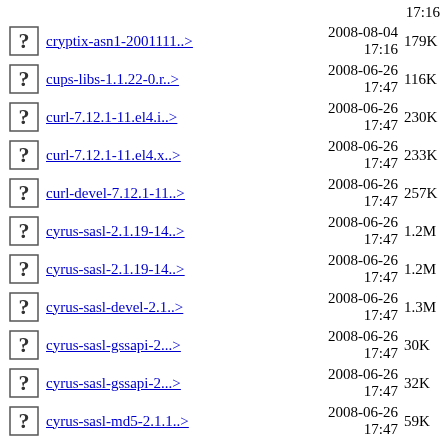cryptix-asn1-2001111..> 2008-08-04 17:16 179K
cups-libs-1.1.22-0.r..> 2008-06-26 17:47 116K
curl-7.12.1-11.el4.i..> 2008-06-26 17:47 230K
curl-7.12.1-11.el4.x..> 2008-06-26 17:47 233K
curl-devel-7.12.1-11..> 2008-06-26 17:47 257K
cyrus-sasl-2.1.19-14..> 2008-06-26 17:47 1.2M
cyrus-sasl-2.1.19-14..> 2008-06-26 17:47 1.2M
cyrus-sasl-devel-2.1..> 2008-06-26 17:47 1.3M
cyrus-sasl-gssapi-2...> 2008-06-26 17:47 30K
cyrus-sasl-gssapi-2...> 2008-06-26 17:47 32K
cyrus-sasl-md5-2.1.1..> 2008-06-26 17:47 59K